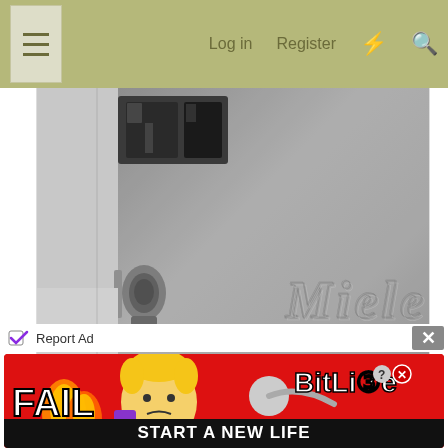Log in  Register
[Figure (photo): Close-up photo of a Miele appliance (likely refrigerator or washing machine) showing the embossed Miele logo on a brushed steel/grey surface, with a handle/latch mechanism visible on the left side and what appears to be a display panel at the top left.]
Report Ad
[Figure (photo): BitLife advertisement banner with red background showing 'FAIL' text, cartoon characters, flames, and 'BitLife - START A NEW LIFE' branding with app store buttons.]